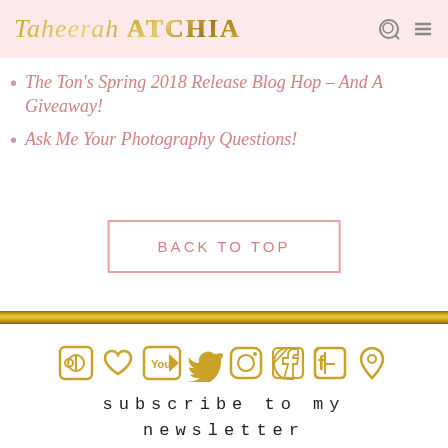Taheerah ATCHIA
The Ton's Spring 2018 Release Blog Hop – And A Giveaway!
Ask Me Your Photography Questions!
BACK TO TOP
[Figure (other): Gold glitter horizontal divider bar]
[Figure (other): Row of gold glitter social media icons: RSS feed, heart/Bloglovin, YouTube, Twitter, Instagram, Pinterest, Facebook, Google Maps location pin]
subscribe to my newsletter